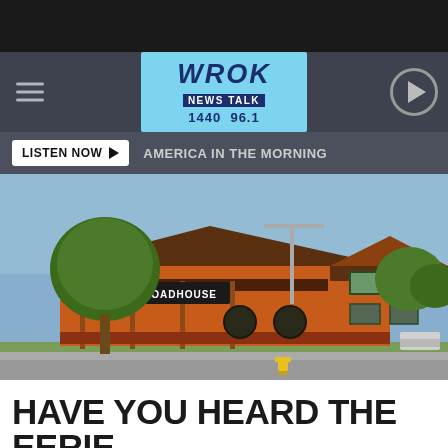[Figure (screenshot): WROK News Talk 1440 96.1 radio station website header with navigation bar, logo, listen now bar, and a photo of the Roadhouse restaurant building (orange exterior), followed by partial headline text]
WROK NEWS TALK 1440 96.1
LISTEN NOW ▶  AMERICA IN THE MORNING
HAVE YOU HEARD THE EERIE